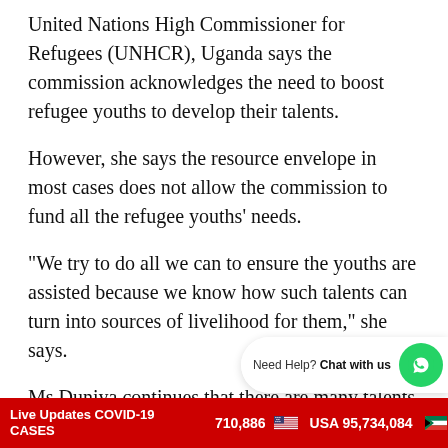United Nations High Commissioner for Refugees (UNHCR), Uganda says the commission acknowledges the need to boost refugee youths to develop their talents.
However, she says the resource envelope in most cases does not allow the commission to fund all the refugee youths' needs.
“We try to do all we can to ensure the youths are assisted because we know how such talents can turn into sources of livelihood for them,” she says.
Ms Duniya continues that there are many talents among the refugees and appreciates the government of Uganda for allowing them space to promote their talents in schools and other platforms.
[Figure (other): WhatsApp chat widget overlay with green icon and 'Need Help? Chat with us' text]
Live Updates COVID-19 CASES   710,886   USA 95,734,084